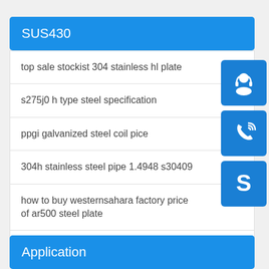SUS430
top sale stockist 304 stainless hl plate
s275j0 h type steel specification
ppgi galvanized steel coil pice
304h stainless steel pipe 1.4948 s30409
how to buy westernsahara factory price of ar500 steel plate
sa537 class 1 steel application
Application